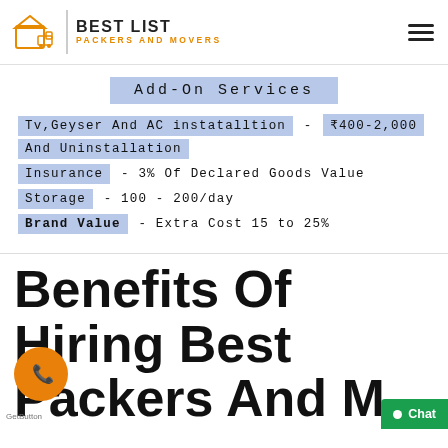BEST LIST PACKERS AND MOVERS
Add-On Services
Tv,Geyser And AC instatalltion And Uninstallation - ₹400-2,000
Insurance - 3% Of Declared Goods Value
Storage - 100 - 200/day
Brand Value - Extra Cost 15 to 25%
Benefits Of Hiring Best Packers And Movers Visakhapatnam For